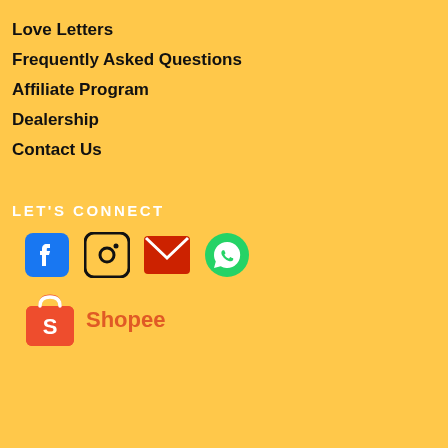Love Letters
Frequently Asked Questions
Affiliate Program
Dealership
Contact Us
LET'S CONNECT
[Figure (infographic): Social media icons: Facebook (blue), Instagram (black outline), Email (red envelope), WhatsApp (green), and Shopee logo with orange text]